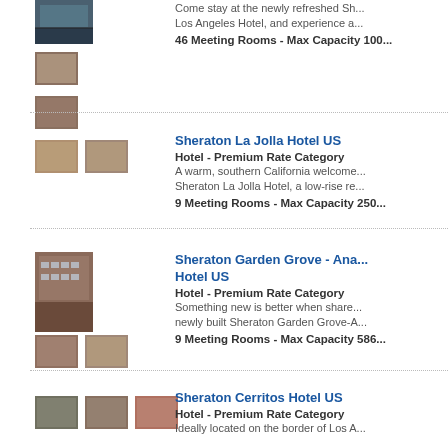[Figure (photo): Large exterior photo of a hotel building - top of page, partially cut off]
Come stay at the newly refreshed Sh... Los Angeles Hotel, and experience a... 46 Meeting Rooms - Max Capacity 100...
[Figure (photo): Small thumbnail of hotel interior/event space]
[Figure (photo): Two small thumbnail photos of Sheraton La Jolla Hotel]
Sheraton La Jolla Hotel US
Hotel - Premium Rate Category
A warm, southern California welcome... Sheraton La Jolla Hotel, a low-rise re...
9 Meeting Rooms - Max Capacity 250...
[Figure (photo): Large exterior photo of Sheraton Garden Grove hotel building plus two small interior thumbnails]
Sheraton Garden Grove - Ana... Hotel US
Hotel - Premium Rate Category
Something new is better when share... newly built Sheraton Garden Grove-A...
9 Meeting Rooms - Max Capacity 586...
[Figure (photo): Three small thumbnail photos of Sheraton Cerritos Hotel]
Sheraton Cerritos Hotel US
Hotel - Premium Rate Category
Ideally located on the border of Los A...